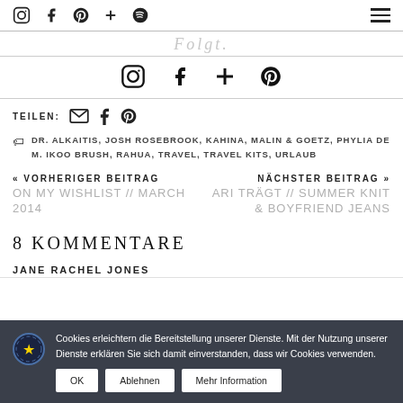Social media icons: Instagram, Facebook, Pinterest, Plus, Spotify; Hamburger menu
Folgt. (faded)
[Figure (infographic): Social media icons row: Instagram, Facebook, Plus, Pinterest]
TEILEN: [email] [facebook] [pinterest]
DR. ALKAITIS, JOSH ROSEBROOK, KAHINA, MALIN & GOETZ, PHYLIA DE M. IKOO BRUSH, RAHUA, TRAVEL, TRAVEL KITS, URLAUB
« VORHERIGER BEITRAG
ON MY WISHLIST // MARCH 2014
NÄCHSTER BEITRAG »
ARI TRÄGT // SUMMER KNIT & BOYFRIEND JEANS
8 KOMMENTARE
JANE RACHEL JONES
Cookies erleichtern die Bereitstellung unserer Dienste. Mit der Nutzung unserer Dienste erklären Sie sich damit einverstanden, dass wir Cookies verwenden.